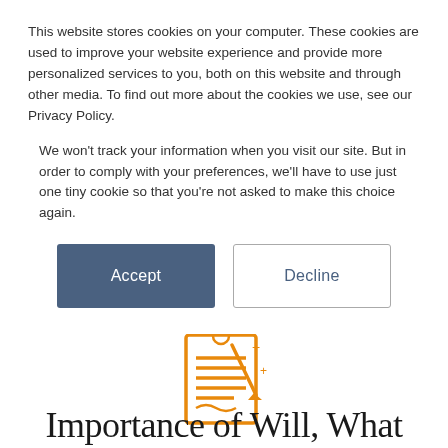This website stores cookies on your computer. These cookies are used to improve your website experience and provide more personalized services to you, both on this website and through other media. To find out more about the cookies we use, see our Privacy Policy.
We won't track your information when you visit our site. But in order to comply with your preferences, we'll have to use just one tiny cookie so that you're not asked to make this choice again.
[Figure (illustration): Cookie consent buttons: Accept (dark blue/grey filled) and Decline (white with border)]
[Figure (illustration): Orange document/will icon with pen and sparkle decorations]
Importance of Will, What Will Happen if There is No Will.
[Figure (illustration): Orange circular phone/call button]
Importance of Will, What